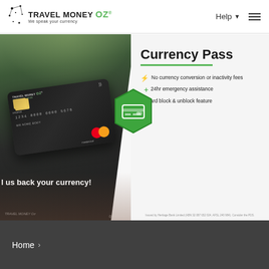TRAVEL MONEY OZ | We speak your currency | Help | Menu
[Figure (photo): Hero banner showing a hand holding a dark Travel Money Oz Currency Pass prepaid Mastercard, with text 'us back your currency!' overlaid on the left photo side, and Currency Pass product information on the right white side including features: No currency conversion or inactivity fees, 24hr emergency assistance, Card block & unblock feature. Issued by Heritage Bank Limited (ABN 32 087 652 024, AFSL 240 984). Consider the PDS.]
Home